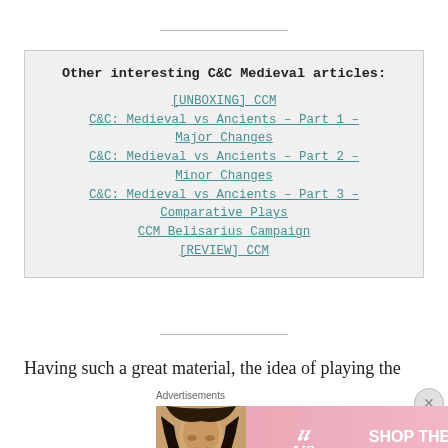Other interesting C&C Medieval articles: [UNBOXING] CCM C&C: Medieval vs Ancients – Part 1 – Major Changes C&C: Medieval vs Ancients – Part 2 – Minor Changes C&C: Medieval vs Ancients – Part 3 – Comparative Plays CCM Belisarius Campaign [REVIEW] CCM
Having such a great material, the idea of playing the
[Figure (screenshot): Victoria's Secret advertisement banner with photo of model, VS logo, SHOP THE COLLECTION text, and SHOP NOW button]